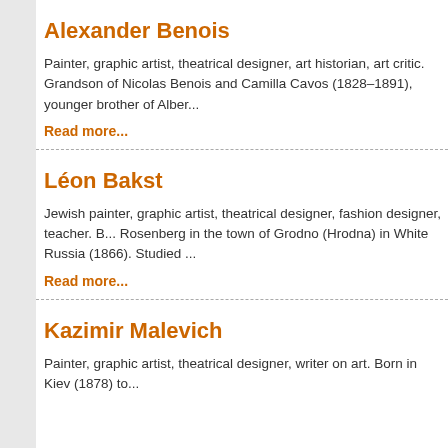Alexander Benois
Painter, graphic artist, theatrical designer, art historian, art critic. Grandson of Nicolas Benois and Camilla Cavos (1828–1891), younger brother of Alber...
Read more...
Léon Bakst
Jewish painter, graphic artist, theatrical designer, fashion designer, teacher. B... Rosenberg in the town of Grodno (Hrodna) in White Russia (1866). Studied ...
Read more...
Kazimir Malevich
Painter, graphic artist, theatrical designer, writer on art. Born in Kiev (1878) to...